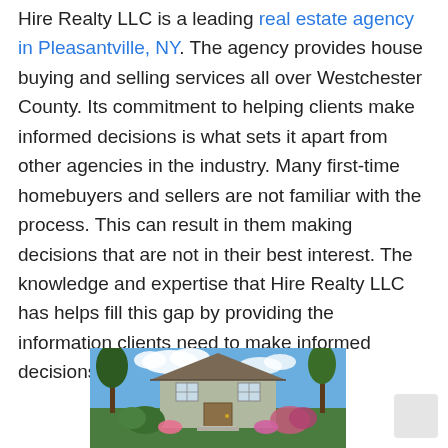Hire Realty LLC is a leading real estate agency in Pleasantville, NY. The agency provides house buying and selling services all over Westchester County. Its commitment to helping clients make informed decisions is what sets it apart from other agencies in the industry. Many first-time homebuyers and sellers are not familiar with the process. This can result in them making decisions that are not in their best interest. The knowledge and expertise that Hire Realty LLC has helps fill this gap by providing the information clients need to make informed decisions.
[Figure (photo): Exterior photo of a two-story residential house with green lawn, flowering shrubs, trees, and a blue sky with clouds.]